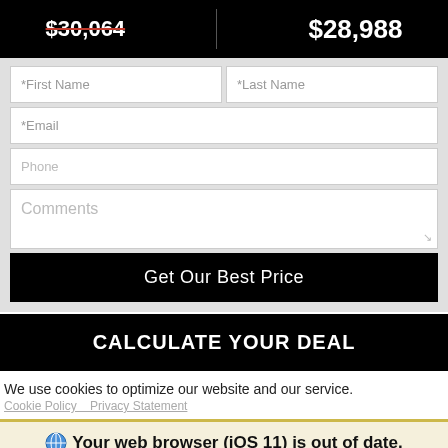$30,064 | $28,988
*First Name
*Last Name
*Email
Phone
Comments
Get Our Best Price
CALCULATE YOUR DEAL
We use cookies to optimize our website and our service.
Cookie Policy   Privacy Statement
Your web browser (iOS 11) is out of date. Update your browser for more security, speed and the best experience on this site.
Update browser
Ignore